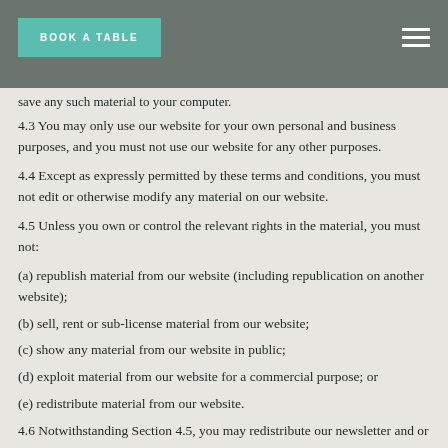BOOK A TABLE
4.2 Except as expressly permitted by Section 4.1 or the other provisions of these terms, you must not download any material from our website or save any such material to your computer.
4.3 You may only use our website for your own personal and business purposes, and you must not use our website for any other purposes.
4.4 Except as expressly permitted by these terms and conditions, you must not edit or otherwise modify any material on our website.
4.5 Unless you own or control the relevant rights in the material, you must not:
(a) republish material from our website (including republication on another website);
(b) sell, rent or sub-license material from our website;
(c) show any material from our website in public;
(d) exploit material from our website for a commercial purpose; or
(e) redistribute material from our website.
4.6 Notwithstanding Section 4.5, you may redistribute our newsletter and or